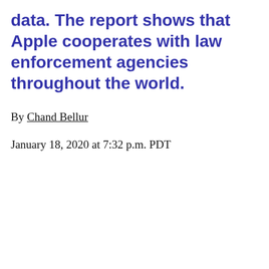data. The report shows that Apple cooperates with law enforcement agencies throughout the world.
By Chand Bellur
January 18, 2020 at 7:32 p.m. PDT